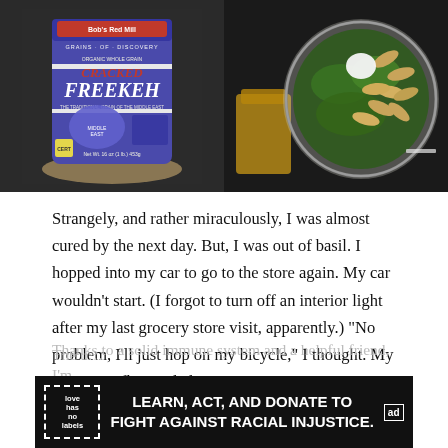[Figure (photo): Two-panel food photo. Left: A bag of Bob's Red Mill Organic Whole Grain Cracked Freekeh on a dark surface with grains spilling out. Right: A food processor bowl containing green herbs and sunflower seeds with oil nearby.]
Strangely, and rather miraculously, I was almost cured by the next day. But, I was out of basil. I hopped into my car to go to the store again. My car wouldn't start. (I forgot to turn off an interior light after my last grocery store visit, apparently.) "No problem, I'll just hop on my bicycle," I thought. My tires were flat. Foiled once again!
[Figure (infographic): Advertisement banner: black background with white text reading 'LEARN, ACT, AND DONATE TO FIGHT AGAINST RACIAL INJUSTICE.' Logo box on left with 'love has no labels', ad choices marker on right.]
The u... Thanks to a solid immune system and a helpful friend, I'm